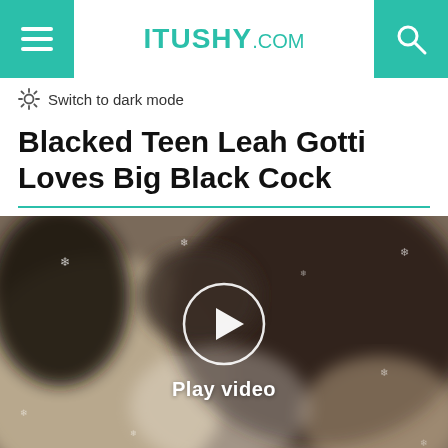ITUSHY.COM
Switch to dark mode
Blacked Teen Leah Gotti Loves Big Black Cock
[Figure (photo): Blurred video thumbnail showing two people, with a circular play button overlay and 'Play video' text in white]